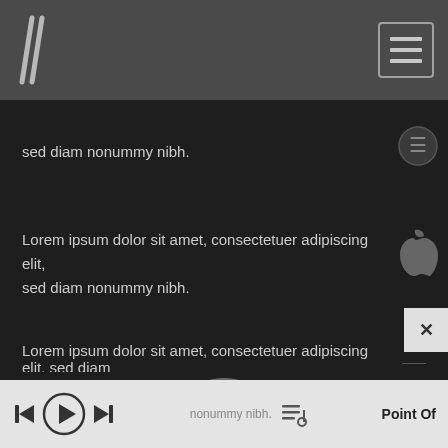[Figure (screenshot): Mobile app UI screenshot with dark background. Top navigation bar with stylized 'M' logo and hamburger menu icon. Content area with lorem ipsum text blocks, Apple logo icons, a divider line with star, Android robot icon in a circle, and a bottom music player bar with playback controls.]
sed diam nonummy nibh.
Lorem ipsum dolor sit amet, consectetuer adipiscing elit, sed diam nonummy nibh.
Lorem ipsum dolor sit amet, consectetuer adipiscing elit, sed diam nonummy nibh.
nonummy nibh.  Point Of